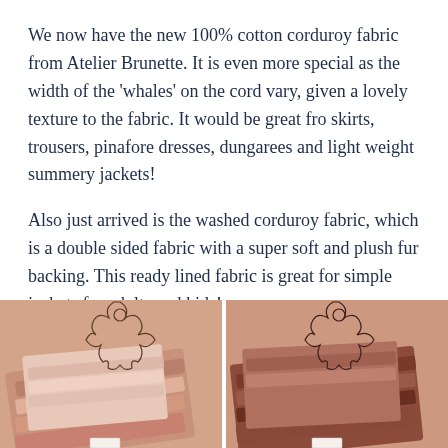We now have the new 100% cotton corduroy fabric from Atelier Brunette. It is even more special as the width of the 'whales' on the cord vary, given a lovely texture to the fabric. It would be great fro skirts, trousers, pinafore dresses, dungarees and light weight summery jackets!
Also just arrived is the washed corduroy fabric, which is a double sided fabric with a super soft and plush fur backing. This ready lined fabric is great for simple jackets for adults and kids!
[Figure (photo): Two side-by-side photos of folded corduroy fabric swatches in muted terracotta/mauve tones, displayed against a peach-pink background with decorative wire figurine sculptures. Left image shows lighter tones, right image shows darker tones.]